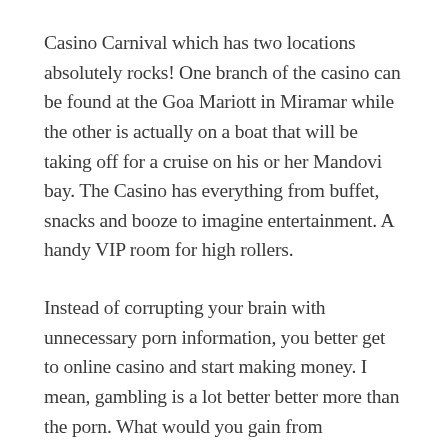Casino Carnival which has two locations absolutely rocks! One branch of the casino can be found at the Goa Mariott in Miramar while the other is actually on a boat that will be taking off for a cruise on his or her Mandovi bay. The Casino has everything from buffet, snacks and booze to imagine entertainment. A handy VIP room for high rollers.
Instead of corrupting your brain with unnecessary porn information, you better get to online casino and start making money. I mean, gambling is a lot better better more than the porn. What would you gain from pornography save for useless crap?
Just precisely what you know small profits, even low improvements of 20 percent a week can turn $50.00